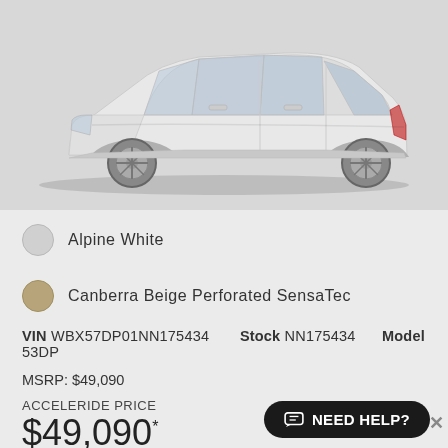[Figure (photo): Side profile of a white BMW X3 SUV on a light gray background]
Alpine White
Canberra Beige Perforated SensaTec
VIN WBX57DP01NN175434   Stock NN175434   Model 53DP
MSRP: $49,090
ACCELERIDE PRICE
$49,090*
Options Live Cockpit Pro, Comfort A... Entry
NEED HELP?